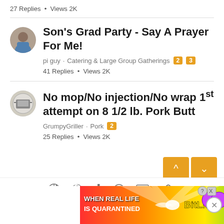27 Replies · Views 2K
Son's Grad Party - Say A Prayer For Me!
pi guy · Catering & Large Group Gatherings [2] [3]
41 Replies · Views 2K
No mop/No injection/No wrap 1st attempt on 8 1/2 lb. Pork Butt
GrumpyGriller · Pork [2]
25 Replies · Views 2K
Share: (icons)
[Figure (screenshot): Ad banner: WHEN REAL LIFE IS QUARANTINED — BitLife app advertisement with rainbow background and cartoon characters]